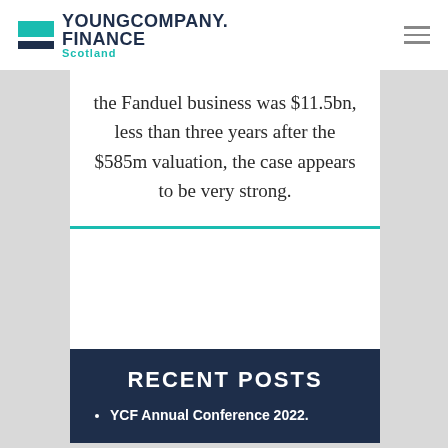YOUNGCOMPANY. FINANCE Scotland
the Fanduel business was $11.5bn, less than three years after the $585m valuation, the case appears to be very strong.
RECENT POSTS
YCF Annual Conference 2022.